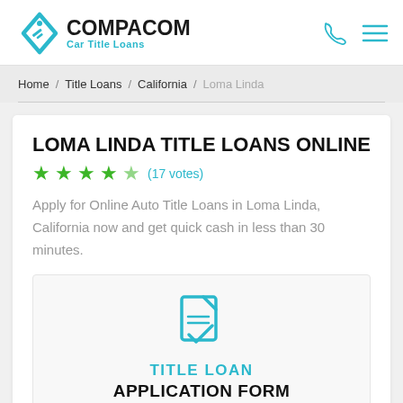COMPACOM Car Title Loans
Home / Title Loans / California / Loma Linda
LOMA LINDA TITLE LOANS ONLINE
★★★★½ (17 votes)
Apply for Online Auto Title Loans in Loma Linda, California now and get quick cash in less than 30 minutes.
[Figure (illustration): Document with checkmark icon in cyan/teal color]
TITLE LOAN APPLICATION FORM